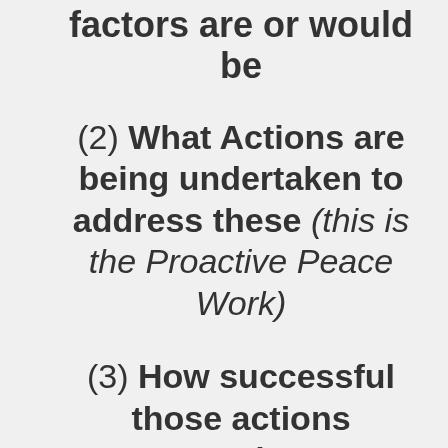factors are or would be
(2) What Actions are being undertaken to address these (this is the Proactive Peace Work)
(3) How successful those actions currently are